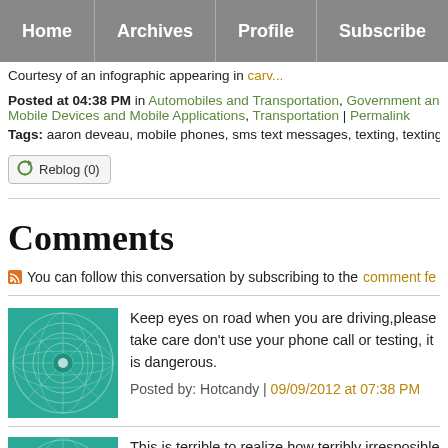Home | Archives | Profile | Subscribe
Courtesy of an infographic appearing in carv...
Posted at 04:38 PM in Automobiles and Transportation, Government and Mobile Devices and Mobile Applications, Transportation | Permalink
Tags: aaron deveau, mobile phones, sms text messages, texting, texting a
Reblog (0)
Comments
You can follow this conversation by subscribing to the comment fe
Keep eyes on road when you are driving,please take care don't use your phone call or testing, it is dangerous.
Posted by: Hotcandy | 09/09/2012 at 07:38 PM
This is terrible to realize how terribly irresposible drivers' be more careful! And not only take care of our lives , but a